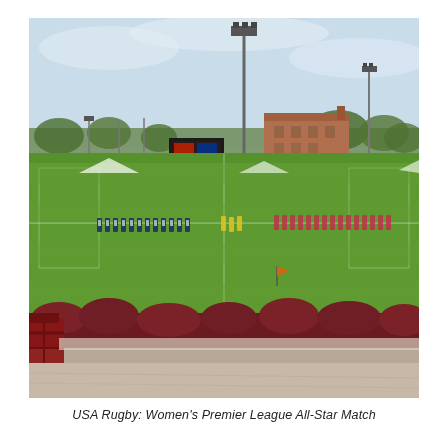[Figure (photo): An outdoor rugby field viewed from elevated stands. Players are lined up in two teams on the green pitch facing each other, with referees in yellow in the middle. A tall floodlight pole dominates the center background. A large brick building is visible beyond the far end of the field. Red bushes and a running track fence appear in the foreground.]
USA Rugby: Women's Premier League All-Star Match